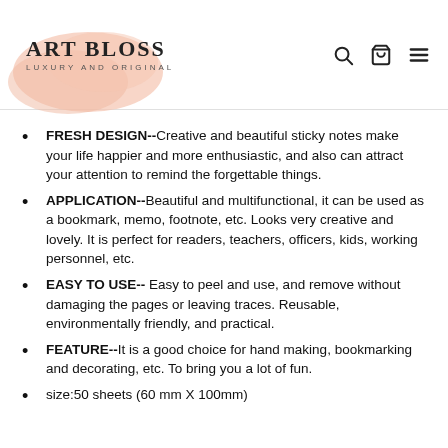Art Bloss Luxury and Original
FRESH DESIGN--Creative and beautiful sticky notes make your life happier and more enthusiastic, and also can attract your attention to remind the forgettable things.
APPLICATION--Beautiful and multifunctional, it can be used as a bookmark, memo, footnote, etc. Looks very creative and lovely. It is perfect for readers, teachers, officers, kids, working personnel, etc.
EASY TO USE-- Easy to peel and use, and remove without damaging the pages or leaving traces. Reusable, environmentally friendly, and practical.
FEATURE--It is a good choice for hand making, bookmarking and decorating, etc. To bring you a lot of fun.
size:50 sheets (60 mm X 100mm)